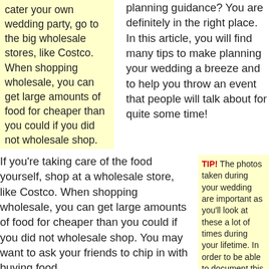cater your own wedding party, go to the big wholesale stores, like Costco. When shopping wholesale, you can get large amounts of food for cheaper than you could if you did not wholesale shop.
planning guidance? You are definitely in the right place. In this article, you will find many tips to make planning your wedding a breeze and to help you throw an event that people will talk about for quite some time!
If you're taking care of the food yourself, shop at a wholesale store, like Costco. When shopping wholesale, you can get large amounts of food for cheaper than you could if you did not wholesale shop. You may want to ask your friends to chip in with buying food.
TIP! The photos taken during your wedding are important as you'll look at these a lot of times during your lifetime. In order to be able to document this magical occasion, hire a professional and spend extra if necessary